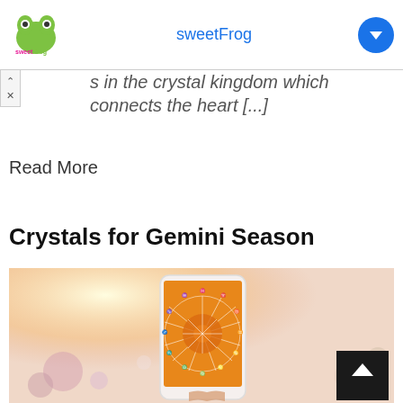[Figure (logo): sweetFrog advertisement banner with logo, brand name in blue, and a blue download arrow button]
s in the crystal kingdom which connects the heart [...]
Read More
Crystals for Gemini Season
[Figure (photo): A hand holding a smartphone displaying a zodiac wheel chart on an orange background, with crystals and bokeh light effects in the background]